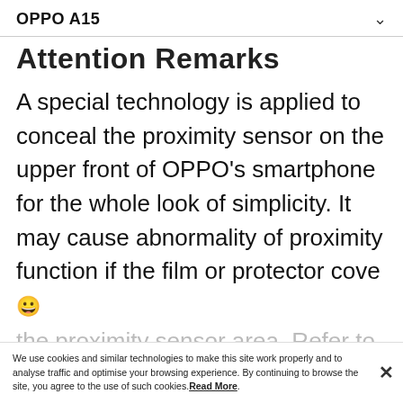OPPO A15 ∨
Attention Remarks
A special technology is applied to conceal the proximity sensor on the upper front of OPPO's smartphone for the whole look of simplicity. It may cause abnormality of proximity function if the film or protector cove 😊
the proximity sensor area. Refer to
We use cookies and similar technologies to make this site work properly and to analyse traffic and optimise your browsing experience. By continuing to browse the site, you agree to the use of such cookies. Read More.
OPPO's official layout of protector and